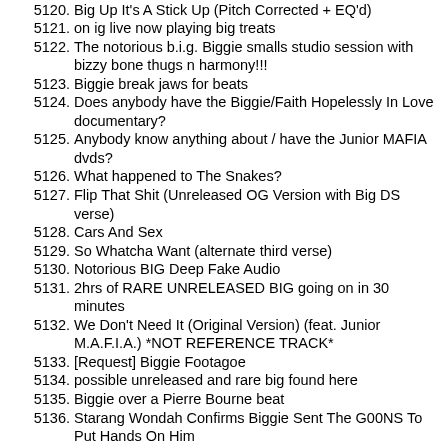5119. "venue after venue" verse
5120. Big Up It's A Stick Up (Pitch Corrected + EQ'd)
5121. on ig live now playing big treats
5122. The notorious b.i.g. Biggie smalls studio session with bizzy bone thugs n harmony!!!
5123. Biggie break jaws for beats
5124. Does anybody have the Biggie/Faith Hopelessly In Love documentary?
5125. Anybody know anything about / have the Junior MAFIA dvds?
5126. What happened to The Snakes?
5127. Flip That Shit (Unreleased OG Version with Big DS verse)
5128. Cars And Sex
5129. So Whatcha Want (alternate third verse)
5130. Notorious BIG Deep Fake Audio
5131. 2hrs of RARE UNRELEASED BIG going on in 30 minutes
5132. We Don't Need It (Original Version) (feat. Junior M.A.F.I.A.) *NOT REFERENCE TRACK*
5133. [Request] Biggie Footagoe
5134. possible unreleased and rare big found here
5135. Biggie over a Pierre Bourne beat
5136. Starang Wondah Confirms Biggie Sent The G00NS To Put Hands On Him
5137. Fat Joe reveals he and Biggie were going to do an album
5138. I Got A Story To Tell (Original Version) [HQ]
5139. Lost Ego Trip Biggie Interview from '94